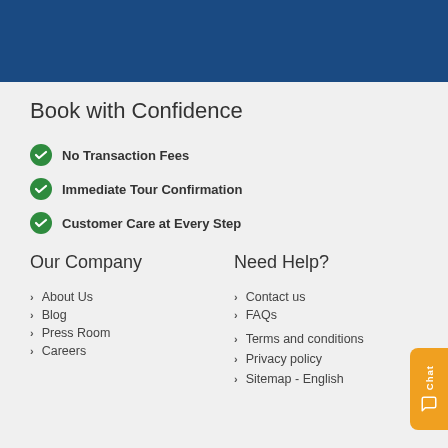[Figure (other): Blue banner header background]
Book with Confidence
No Transaction Fees
Immediate Tour Confirmation
Customer Care at Every Step
Our Company
About Us
Blog
Press Room
Careers
Need Help?
Contact us
FAQs
Terms and conditions
Privacy policy
Sitemap - English